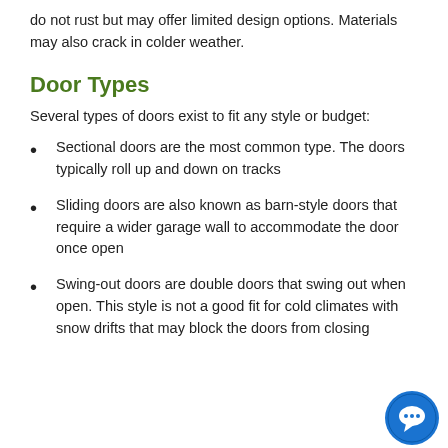do not rust but may offer limited design options. Materials may also crack in colder weather.
Door Types
Several types of doors exist to fit any style or budget:
Sectional doors are the most common type. The doors typically roll up and down on tracks
Sliding doors are also known as barn-style doors that require a wider garage wall to accommodate the door once open
Swing-out doors are double doors that swing out when open. This style is not a good fit for cold climates with snow drifts that may block the doors from closing